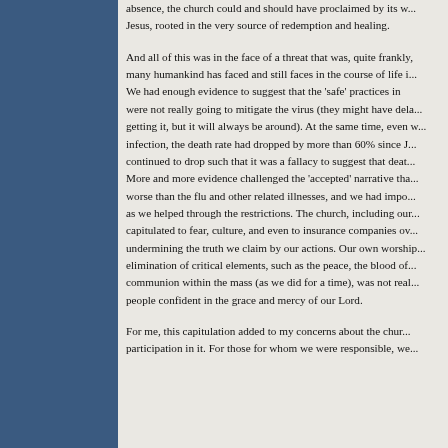absence, the church could and should have proclaimed by its w... Jesus, rooted in the very source of redemption and healing.
And all of this was in the face of a threat that was, quite frankly, many humankind has faced and still faces in the course of life i... We had enough evidence to suggest that the 'safe' practices in were not really going to mitigate the virus (they might have dela... getting it, but it will always be around). At the same time, even w... infection, the death rate had dropped by more than 60% since J... continued to drop such that it was a fallacy to suggest that deat... More and more evidence challenged the 'accepted' narrative tha... worse than the flu and other related illnesses, and we had impo... as we helped through the restrictions. The church, including our... capitulated to fear, culture, and even to insurance companies ov... undermining the truth we claim by our actions. Our own worship... elimination of critical elements, such as the peace, the blood of... communion within the mass (as we did for a time), was not real... people confident in the grace and mercy of our Lord.
For me, this capitulation added to my concerns about the chur... participation in it. For those for whom we were responsible, we...